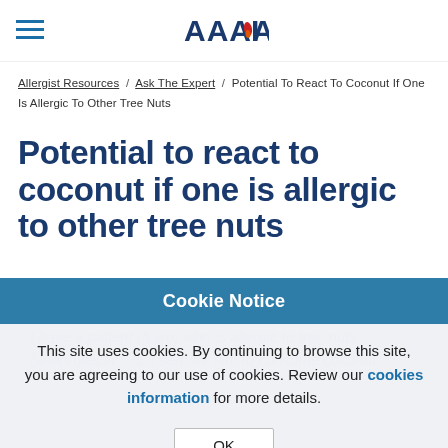AAAAI [logo]
Allergist Resources / Ask The Expert / Potential To React To Coconut If One Is Allergic To Other Tree Nuts
Potential to react to coconut if one is allergic to other tree nuts
Cookie Notice
This site uses cookies. By continuing to browse this site, you are agreeing to our use of cookies. Review our cookies information for more details.
OK
I have a patient (5 y/o) who is allergic to tree nuts (anaphylactic). Is it safe for him to consume coconut...